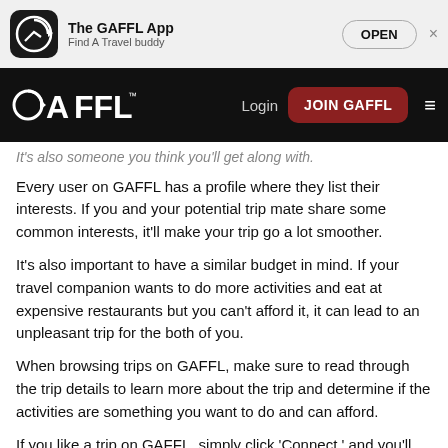[Figure (screenshot): App store banner for The GAFFL App with icon, 'Find A Travel buddy' subtitle, and OPEN button]
[Figure (screenshot): GAFFL website navigation bar with logo, Login link, JOIN GAFFL button, and hamburger menu]
It's also someone you think you'll get along with.
Every user on GAFFL has a profile where they list their interests. If you and your potential trip mate share some common interests, it'll make your trip go a lot smoother.
It's also important to have a similar budget in mind. If your travel companion wants to do more activities and eat at expensive restaurants but you can't afford it, it can lead to an unpleasant trip for the both of you.
When browsing trips on GAFFL, make sure to read through the trip details to learn more about the trip and determine if the activities are something you want to do and can afford.
If you like a trip on GAFFL, simply click 'Connect,' and you'll be able to chat with your travel buddy right away. If you have your own travel plans, you can start your own trip and others can request to connect with you!